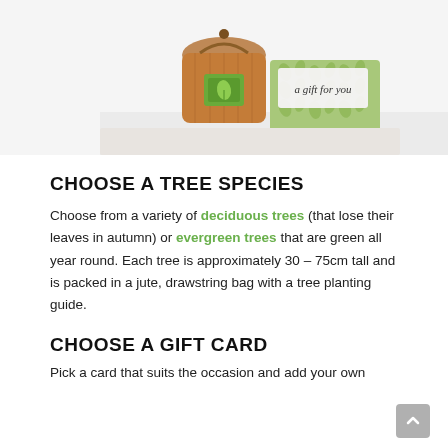[Figure (photo): A tree sapling packed in a jute drawstring bag with a green leafy pattern gift card reading 'a gift for you', displayed on a white surface.]
CHOOSE A TREE SPECIES
Choose from a variety of deciduous trees (that lose their leaves in autumn) or evergreen trees that are green all year round. Each tree is approximately 30 – 75cm tall and is packed in a jute, drawstring bag with a tree planting guide.
CHOOSE A GIFT CARD
Pick a card that suits the occasion and add your own